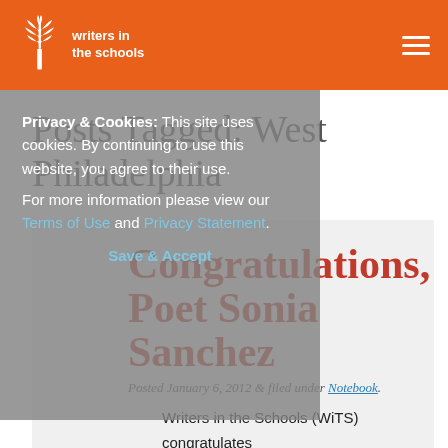writers in the schools
Posts Tagged: West Philadelphia
Congratulations, Poet Sonia Sanchez
Posted January 6, 2012 & filed under Notebook.
Writers in the Schools (WiTS) congratulates poet Sonia Sanchez, recently named the new poet laureate of Philadelphia. Mayor Michael Nutter awarded the 77-year-old
Privacy & Cookies: This site uses cookies. By continuing to use this website, you agree to their use. For more information please view our Terms of Use and Privacy Statement.
Save & Accept